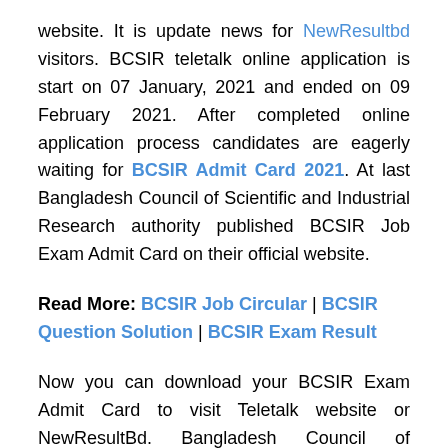website. It is update news for NewResultbd visitors. BCSIR teletalk online application is start on 07 January, 2021 and ended on 09 February 2021. After completed online application process candidates are eagerly waiting for BCSIR Admit Card 2021. At last Bangladesh Council of Scientific and Industrial Research authority published BCSIR Job Exam Admit Card on their official website.
Read More: BCSIR Job Circular | BCSIR Question Solution | BCSIR Exam Result
Now you can download your BCSIR Exam Admit Card to visit Teletalk website or NewResultBd. Bangladesh Council of Scientific and Industrial Research is is one of the biggest government organization in Bangladesh. Every year BCSIR publish huge number of job circular. This year Council of Scientific and Industrial Research publish 19 vacancy in 09 category job circular. Below we share BCSIR Job Circular. If